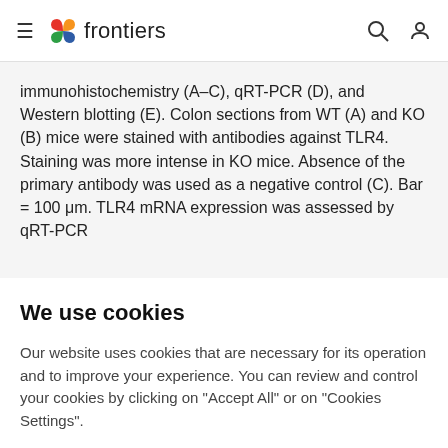frontiers
immunohistochemistry (A–C), qRT-PCR (D), and Western blotting (E). Colon sections from WT (A) and KO (B) mice were stained with antibodies against TLR4. Staining was more intense in KO mice. Absence of the primary antibody was used as a negative control (C). Bar = 100 μm. TLR4 mRNA expression was assessed by qRT-PCR
We use cookies
Our website uses cookies that are necessary for its operation and to improve your experience. You can review and control your cookies by clicking on "Accept All" or on "Cookies Settings".
Accept Cookies
Cookies Settings